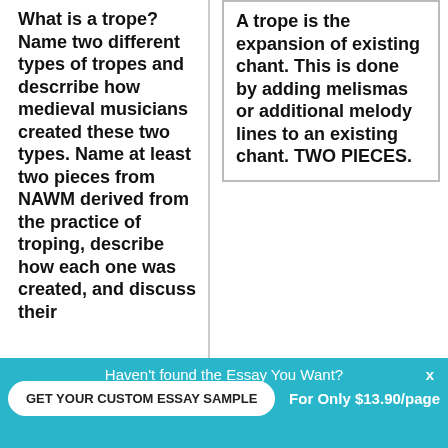What is a trope? Name two different types of tropes and descrribe how medieval musicians created these two types. Name at least two pieces from NAWM derived from the practice of troping, describe how each one was created, and discuss their...
A trope is the expansion of existing chant. This is done by adding melismas or additional melody lines to an existing chant. TWO PIECES.
Haven't found the Essay You Want?
GET YOUR CUSTOM ESSAY SAMPLE
For Only $13.90/page